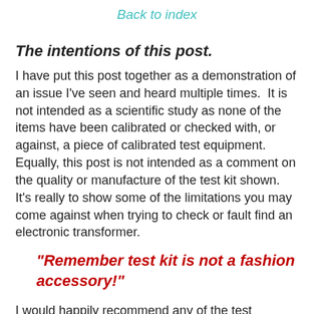Back to index
The intentions of this post.
I have put this post together as a demonstration of an issue I've seen and heard multiple times.  It is not intended as a scientific study as none of the items have been calibrated or checked with, or against, a piece of calibrated test equipment. Equally, this post is not intended as a comment on the quality or manufacture of the test kit shown. It's really to show some of the limitations you may come against when trying to check or fault find an electronic transformer.
"Remember test kit is not a fashion accessory!"
I would happily recommend any of the test equipment shown, as I have used them regularly myself on many occasions.  The cheap multimeters are excellent for most